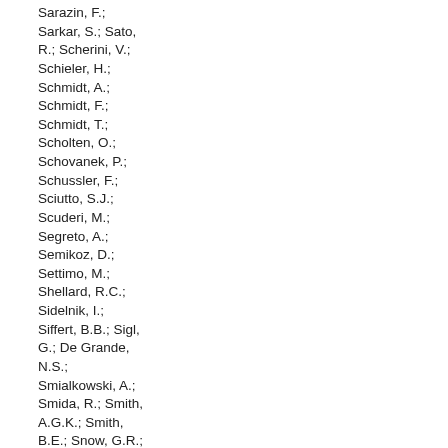Sarazin, F.; Sarkar, S.; Sato, R.; Scherini, V.; Schieler, H.; Schmidt, A.; Schmidt, F.; Schmidt, T.; Scholten, O.; Schovanek, P.; Schussler, F.; Sciutto, S.J.; Scuderi, M.; Segreto, A.; Semikoz, D.; Settimo, M.; Shellard, R.C.; Sidelnik, I.; Siffert, B.B.; Sigl, G.; De Grande, N.S.; Smialkowski, A.; Smida, R.; Smith, A.G.K.; Smith, B.E.; Snow, G.R.; Sokolsky, P.; Sommers, P.; Sorokin, J.; Spinka, H.; Squartini, R.; Strazzeri, E.; Stutz, A.; Suarez, F.; Suomijarvi, T.; Supanitsky, A.D.; Sutherland, M.S.; Swain, J.; Szadkowski, Z.; Takahashi, J.; Tamashiro, A.